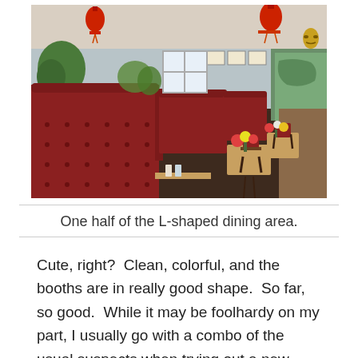[Figure (photo): Interior of a Chinese restaurant showing red tufted leather booth seating arranged in rows, small tables with chairs along the right wall, decorative plants and lanterns, dark carpet flooring, and a map or mural on the far right wall.]
One half of the L-shaped dining area.
Cute, right?  Clean, colorful, and the booths are in really good shape.  So far, so good.  While it may be foolhardy on my part, I usually go with a combo of the usual suspects when trying out a new Chinese place because, let's face it, I have a lot